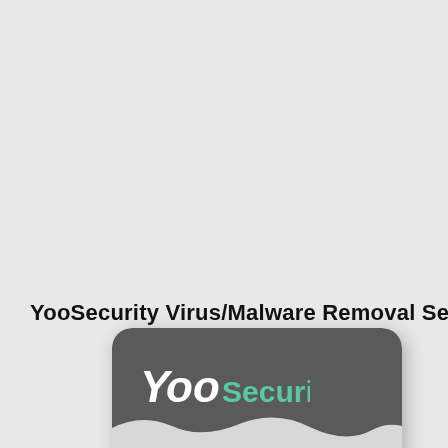YooSecurity Virus/Malware Removal Service
[Figure (illustration): YooSecurity branded card showing logo with 'Yoo Security' text in white and teal on dark grey header with wave design, and body text reading 'Infected with malware, hijacked redirect virus or other threats?' on a light grey background, with partial person image in bottom right.]